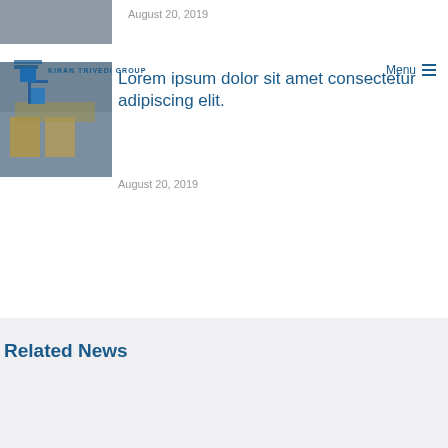[Figure (photo): Partially visible thumbnail image at the top of the page]
August 20, 2019
KIRAN TRIVEDI GROUP   Menu ☰
[Figure (photo): Article thumbnail showing a building exterior with yellow machinery]
Lorem ipsum dolor sit amet consectetur adipiscing elit.
August 20, 2019
Related News